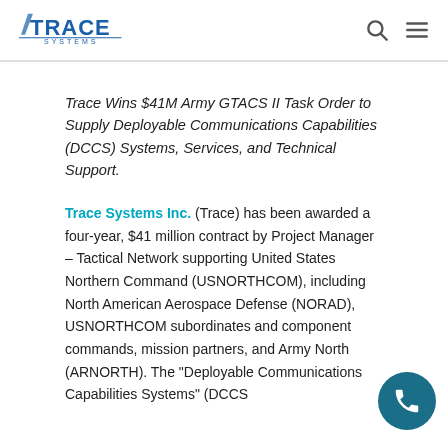Trace Systems logo, search icon, menu icon
Trace Wins $41M Army GTACS II Task Order to Supply Deployable Communications Capabilities (DCCS) Systems, Services, and Technical Support.
Trace Systems Inc. (Trace) has been awarded a four-year, $41 million contract by Project Manager – Tactical Network supporting United States Northern Command (USNORTHCOM), including North American Aerospace Defense (NORAD), USNORTHCOM subordinates and component commands, mission partners, and Army North (ARNORTH). The "Deployable Communications Capabilities Systems" (DCCS)